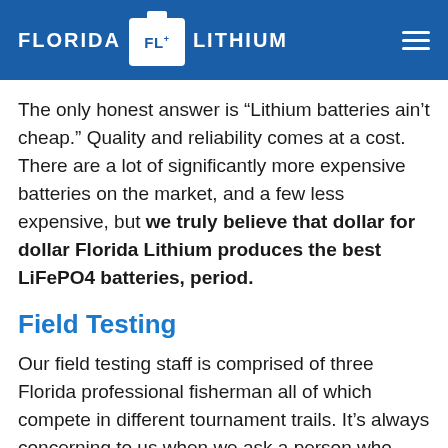FLORIDA FL+ LITHIUM
The only honest answer is “Lithium batteries ain’t cheap.” Quality and reliability comes at a cost. There are a lot of significantly more expensive batteries on the market, and a few less expensive, but we truly believe that dollar for dollar Florida Lithium produces the best LiFePO4 batteries, period.
Field Testing
Our field testing staff is comprised of three Florida professional fisherman all of which compete in different tournament trails. It’s always concerning to us when we ask a person who fishes for a living to become a guinea